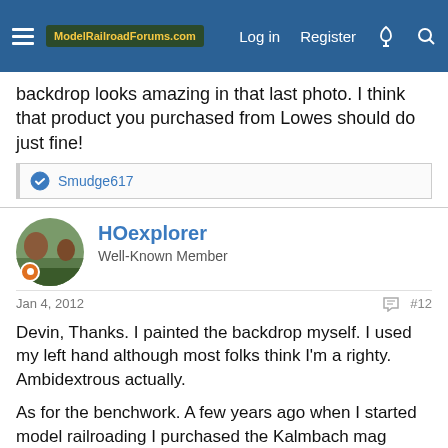ModelRailroadForums.com — Log in | Register
backdrop looks amazing in that last photo. I think that product you purchased from Lowes should do just fine!
👍 Smudge617
HOexplorer
Well-Known Member
Jan 4, 2012   #12
Devin, Thanks. I painted the backdrop myself. I used my left hand although most folks think I'm a righty. Ambidextrous actually.

As for the benchwork. A few years ago when I started model railroading I purchased the Kalmbach mag about Benchwork. I knew nothing before, I just did what they said in the book. You can find this benchwork book at your LHS or I believe you can buy it direct from Kalmbach the publisher. Let me know if I can